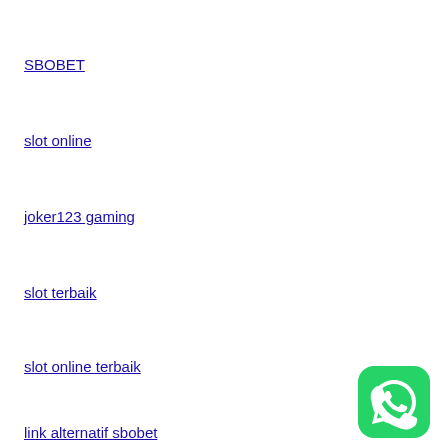SBOBET
slot online
joker123 gaming
slot terbaik
slot online terbaik
link alternatif sbobet
[Figure (logo): WhatsApp green rounded square icon with white phone handset symbol]